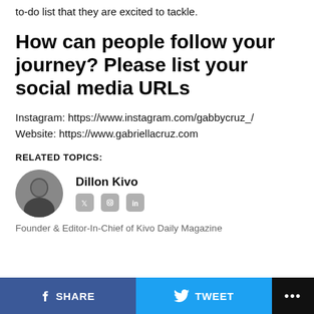to-do list that they are excited to tackle.
How can people follow your journey? Please list your social media URLs
Instagram: https://www.instagram.com/gabbycruz_/
Website: https://www.gabriellacruz.com
RELATED TOPICS:
Dillon Kivo
Founder & Editor-In-Chief of Kivo Daily Magazine
SHARE   TWEET   ...